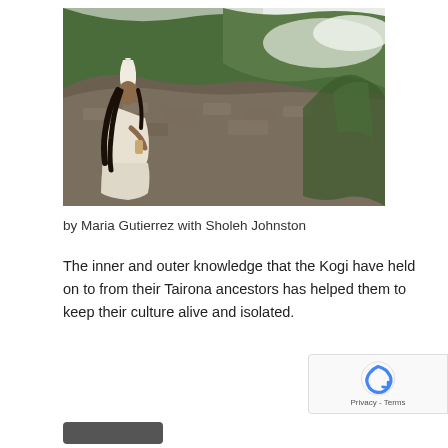[Figure (photo): A person wearing white robes and a tall white conical hat, with long dark hair, standing on a rocky hillside with lush green forested mountains and mist in the background.]
by Maria Gutierrez with Sholeh Johnston
The inner and outer knowledge that the Kogi have held on to from their Tairona ancestors has helped them to keep their culture alive and isolated.